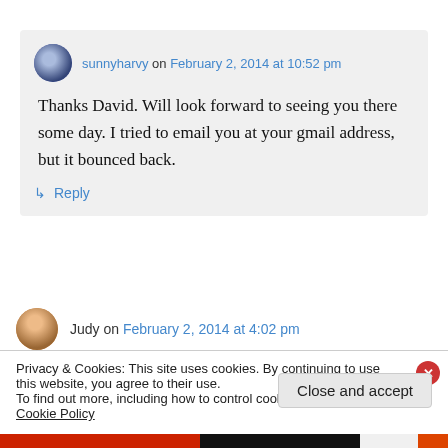sunnyharvy on February 2, 2014 at 10:52 pm
Thanks David. Will look forward to seeing you there some day. I tried to email you at your gmail address, but it bounced back.
↳ Reply
Judy on February 2, 2014 at 4:02 pm
Privacy & Cookies: This site uses cookies. By continuing to use this website, you agree to their use. To find out more, including how to control cookies, see here: Cookie Policy
Close and accept